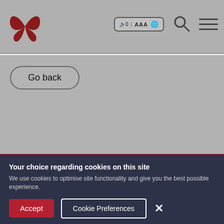[Figure (logo): Red butterfly logo in top left of header navigation bar]
Navigation header with butterfly logo, accessibility controls (speaker, AAA, globe), search icon, and hamburger menu
Go back
Find out more about the difference your support makes...
Keep in touch
Your choice regarding cookies on this site
We use cookies to optimise site functionality and give you the best possible experience.
Accept
Cookie Preferences